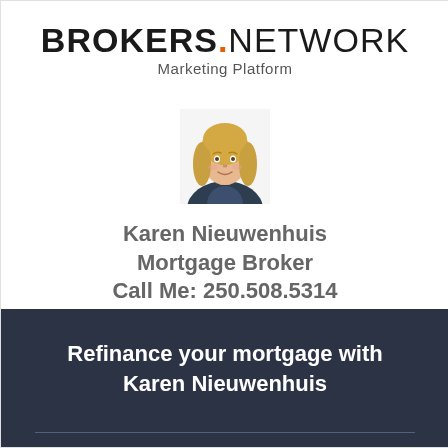BROKERS.NETWORK Marketing Platform
[Figure (photo): Professional headshot of a middle-aged blonde woman, Karen Nieuwenhuis, against a white background]
Karen Nieuwenhuis
Mortgage Broker
Call Me: 250.508.5314
Refinance your mortgage with Karen Nieuwenhuis